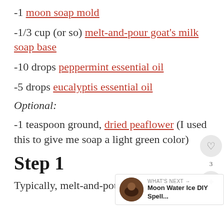-1 moon soap mold
-1/3 cup (or so) melt-and-pour goat's milk soap base
-10 drops peppermint essential oil
-5 drops eucalyptis essential oil
Optional:
-1 teaspoon ground, dried peaflower (I used this to give me soap a light green color)
Step 1
Typically, melt-and-pour comes in 1-pound